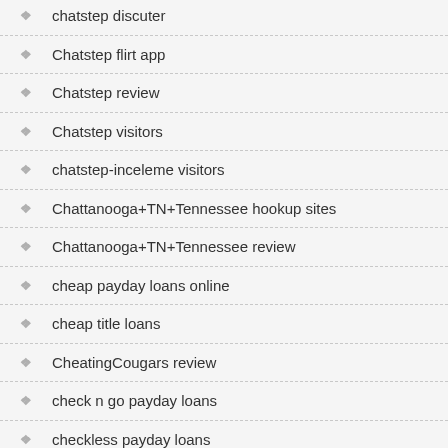chatstep discuter
Chatstep flirt app
Chatstep review
Chatstep visitors
chatstep-inceleme visitors
Chattanooga+TN+Tennessee hookup sites
Chattanooga+TN+Tennessee review
cheap payday loans online
cheap title loans
CheatingCougars review
check n go payday loans
checkless payday loans